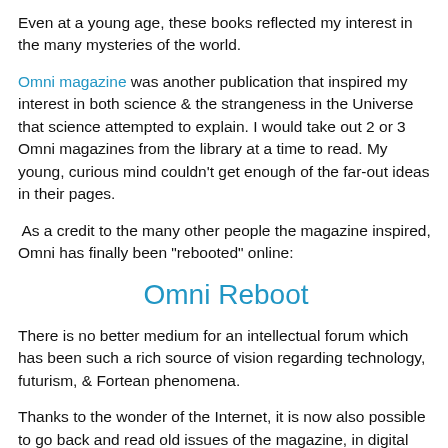Even at a young age, these books reflected my interest in the many mysteries of the world.
Omni magazine was another publication that inspired my interest in both science & the strangeness in the Universe that science attempted to explain. I would take out 2 or 3 Omni magazines from the library at a time to read. My young, curious mind couldn't get enough of the far-out ideas in their pages.
As a credit to the many other people the magazine inspired, Omni has finally been "rebooted" online:
Omni Reboot
There is no better medium for an intellectual forum which has been such a rich source of vision regarding technology, futurism, & Fortean phenomena.
Thanks to the wonder of the Internet, it is now also possible to go back and read old issues of the magazine, in digital